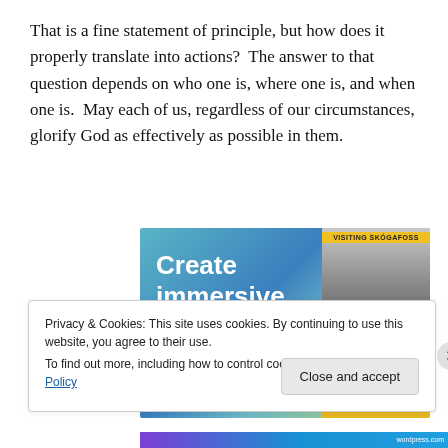That is a fine statement of principle, but how does it properly translate into actions?  The answer to that question depends on who one is, where one is, and when one is.  May each of us, regardless of our circumstances, glorify God as effectively as possible in them.
[Figure (other): Advertisement banner reading 'Create immersive stories.' with a photo of a person at Skogafoss waterfall in Iceland, with an 'Aa' badge.]
Privacy & Cookies: This site uses cookies. By continuing to use this website, you agree to their use.
To find out more, including how to control cookies, see here: Cookie Policy
Close and accept